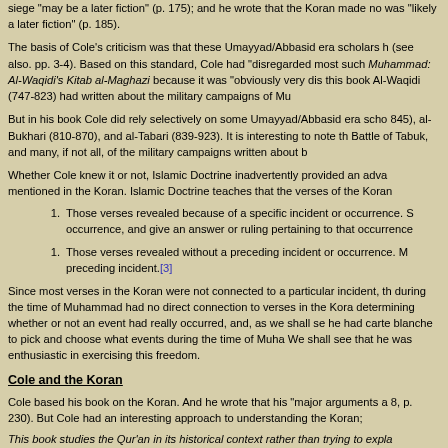siege "may be a later fiction" (p. 175); and he wrote that the Koran made no mention... was "likely a later fiction" (p. 185).
The basis of Cole's criticism was that these Umayyad/Abbasid era scholars h... (see also. pp. 3-4). Based on this standard, Cole had "disregarded most such..." Muhammad: Al-Waqidi's Kitab al-Maghazi because it was "obviously very dis..." this book Al-Waqidi (747-823) had written about the military campaigns of Mu...
But in his book Cole did rely selectively on some Umayyad/Abbasid era scho... 845), al-Bukhari (810-870), and al-Tabari (839-923). It is interesting to note th... Battle of Tabuk, and many, if not all, of the military campaigns written about b...
Whether Cole knew it or not, Islamic Doctrine inadvertently provided an adva... mentioned in the Koran. Islamic Doctrine teaches that the verses of the Koran...
Those verses revealed because of a specific incident or occurrence. S... occurrence, and give an answer or ruling pertaining to that occurrence...
Those verses revealed without a preceding incident or occurrence. M... preceding incident.[3]
Since most verses in the Koran were not connected to a particular incident, th... during the time of Muhammad had no direct connection to verses in the Kora... determining whether or not an event had really occurred, and, as we shall se... he had carte blanche to pick and choose what events during the time of Muha... We shall see that he was enthusiastic in exercising this freedom.
Cole and the Koran
Cole based his book on the Koran. And he wrote that his "major arguments a... 8, p. 230). But Cole had an interesting approach to understanding the Koran;
This book studies the Qur'an in its historical context rather than trying to expla...